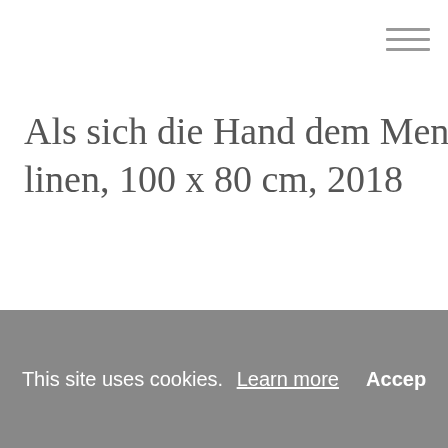[Figure (other): Hamburger menu icon with three horizontal lines in the top-right corner]
Als sich die Hand dem Menschen entzog linen, 100 x 80 cm, 2018
This site uses cookies. Learn more Accept